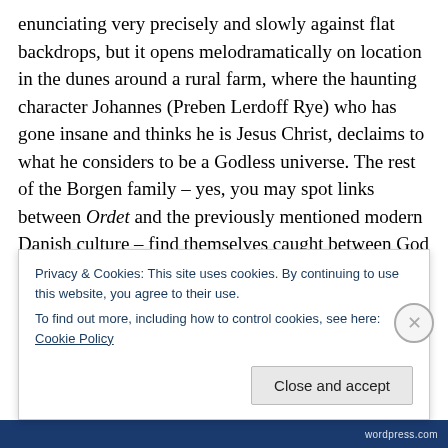enunciating very precisely and slowly against flat backdrops, but it opens melodramatically on location in the dunes around a rural farm, where the haunting character Johannes (Preben Lerdoff Rye) who has gone insane and thinks he is Jesus Christ, declaims to what he considers to be a Godless universe. The rest of the Borgen family – yes, you may spot links between Ordet and the previously mentioned modern Danish culture – find themselves caught between God and science, tradition and progress, birth and death, true faith and cold, hard reality. They also
Privacy & Cookies: This site uses cookies. By continuing to use this website, you agree to their use.
To find out more, including how to control cookies, see here: Cookie Policy
Close and accept